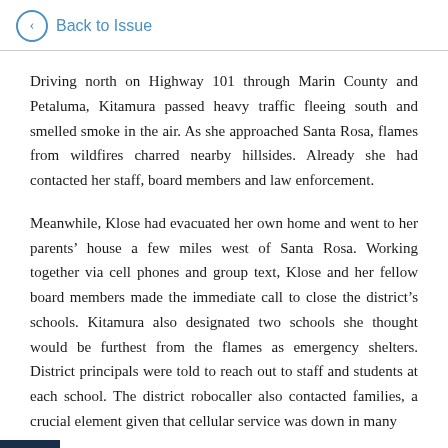Back to Issue
Driving north on Highway 101 through Marin County and Petaluma, Kitamura passed heavy traffic fleeing south and smelled smoke in the air. As she approached Santa Rosa, flames from wildfires charred nearby hillsides. Already she had contacted her staff, board members and law enforcement.
Meanwhile, Klose had evacuated her own home and went to her parents’ house a few miles west of Santa Rosa. Working together via cell phones and group text, Klose and her fellow board members made the immediate call to close the district’s schools. Kitamura also designated two schools she thought would be furthest from the flames as emergency shelters. District principals were told to reach out to staff and students at each school. The district robocaller also contacted families, a crucial element given that cellular service was down in many